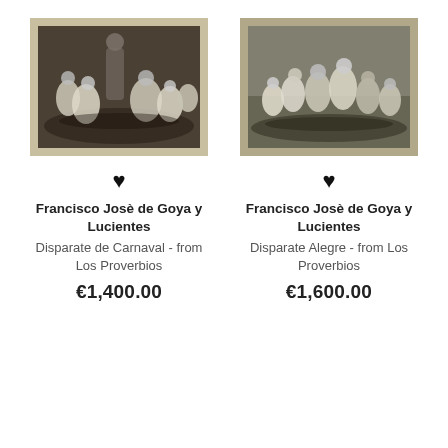[Figure (photo): Framed etching artwork 'Disparate de Carnaval' by Francisco Josè de Goya y Lucientes, showing figures in carnival scene, cream mat border]
[Figure (photo): Framed etching artwork 'Disparate Alegre' by Francisco Josè de Goya y Lucientes, showing dancing figures, cream mat border]
♥
♥
Francisco Josè de Goya y Lucientes
Disparate de Carnaval - from Los Proverbios
€1,400.00
Francisco Josè de Goya y Lucientes
Disparate Alegre - from Los Proverbios
€1,600.00